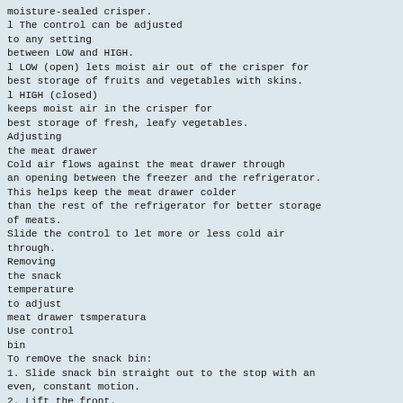moisture-sealed crisper.
l The control can be adjusted to any setting between LOW and HIGH.
l LOW (open) lets moist air out of the crisper for best storage of fruits and vegetables with skins.
l HIGH (closed) keeps moist air in the crisper for best storage of fresh, leafy vegetables.
Adjusting the meat drawer
Cold air flows against the meat drawer through an opening between the freezer and the refrigerator. This helps keep the meat drawer colder than the rest of the refrigerator for better storage of meats.
Slide the control to let more or less cold air through.
Removing the snack temperature to adjust meat drawer tsmperatura
Use control bin
To remOve the snack bin:
1. Slide snack bin straight out to the stop with an even, constant motion.
2. Lift the front.
3. Slide bin out the rest of the way.
4. Replace in reverse order.
Pull out to Ihe stop, lift the front.